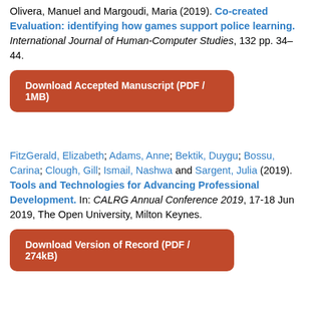Olivera, Manuel and Margoudi, Maria (2019). Co-created Evaluation: identifying how games support police learning. International Journal of Human-Computer Studies, 132 pp. 34–44.
Download Accepted Manuscript (PDF / 1MB)
FitzGerald, Elizabeth; Adams, Anne; Bektik, Duygu; Bossu, Carina; Clough, Gill; Ismail, Nashwa and Sargent, Julia (2019). Tools and Technologies for Advancing Professional Development. In: CALRG Annual Conference 2019, 17-18 Jun 2019, The Open University, Milton Keynes.
Download Version of Record (PDF / 274kB)
Iacovides, Ioanna; Cox, Anna; Furniss, Dominic; Stawarz, Katarzyna; Jennett, Charlene and Adams, Anne (2019). Supporting